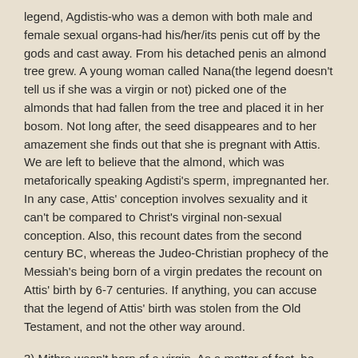legend, Agdistis-who was a demon with both male and female sexual organs-had his/her/its penis cut off by the gods and cast away. From his detached penis an almond tree grew. A young woman called Nana(the legend doesn't tell us if she was a virgin or not) picked one of the almonds that had fallen from the tree and placed it in her bosom. Not long after, the seed disappeares and to her amazement she finds out that she is pregnant with Attis. We are left to believe that the almond, which was metaforically speaking Agdisti's sperm, impregnanted her. In any case, Attis' conception involves sexuality and it can't be compared to Christ's virginal non-sexual conception. Also, this recount dates from the second century BC, whereas the Judeo-Christian prophecy of the Messiah's being born of a virgin predates the recount on Attis' birth by 6-7 centuries. If anything, you can accuse that the legend of Attis' birth was stolen from the Old Testament, and not the other way around.
3) Mithra wasn't born of a virgin. As a matter of fact, he emerged from a ROCK, not from a human being. You